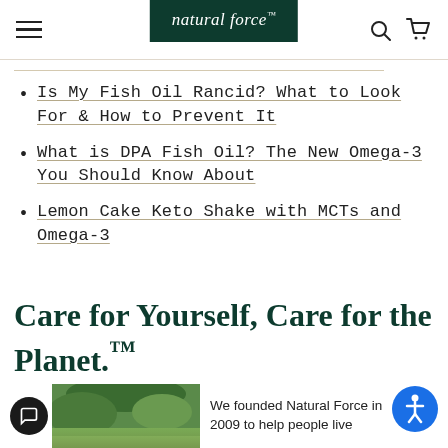natural force™ — navigation header with hamburger menu, search, and cart icons
Is My Fish Oil Rancid? What to Look For & How to Prevent It
What is DPA Fish Oil? The New Omega-3 You Should Know About
Lemon Cake Keto Shake with MCTs and Omega-3
Care for Yourself, Care for the Planet.™
We founded Natural Force in 2009 to help people live